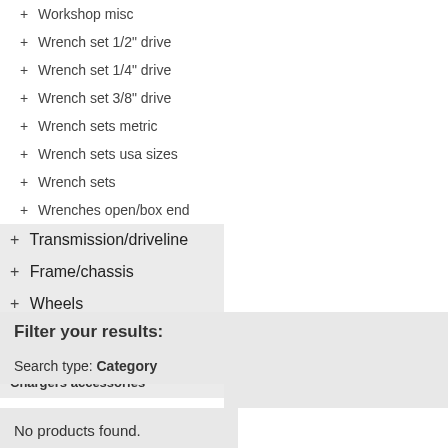+ Workshop misc
+ Wrench set 1/2" drive
+ Wrench set 1/4" drive
+ Wrench set 3/8" drive
+ Wrench sets metric
+ Wrench sets usa sizes
+ Wrench sets
+ Wrenches open/box end
+ Transmission/driveline
+ Frame/chassis
+ Wheels
+ Windshields and bodyparts
Categories home > Tools > Chargers accessories
Filter your results:
Search type: Category
No products found.